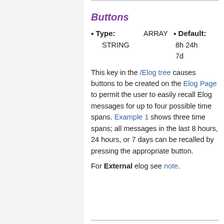Buttons
Type: ARRAY STRING
Default: 8h 24h 7d
This key in the /Elog tree causes buttons to be created on the Elog Page to permit the user to easily recall Elog messages for up to four possible time spans. Example 1 shows three time spans; all messages in the last 8 hours, 24 hours, or 7 days can be recalled by pressing the appropriate button.
For External elog see note.